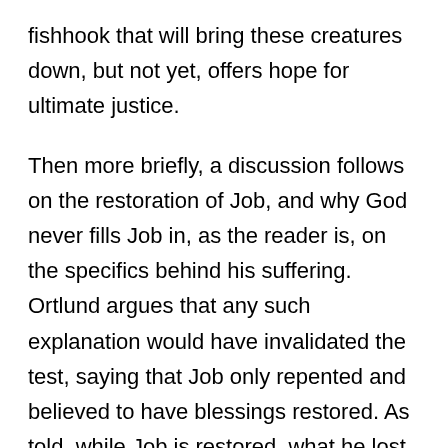fishhook that will bring these creatures down, but not yet, offers hope for ultimate justice.
Then more briefly, a discussion follows on the restoration of Job, and why God never fills Job in, as the reader is, on the specifics behind his suffering. Ortlund argues that any such explanation would have invalidated the test, saying that Job only repented and believed to have blessings restored. As told, while Job is restored, what he lost is lost, and throughout his life, he believes God for God's sake.
To my mind, Ortlund offers a treatment of Job